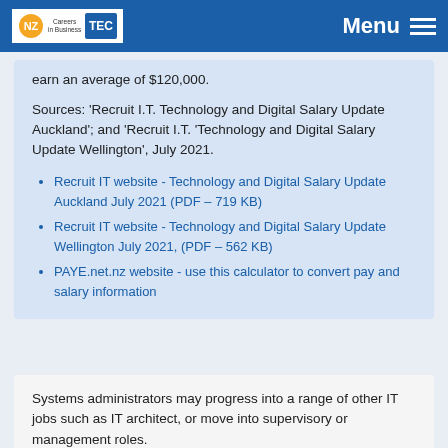Menu
earn an average of $120,000.
Sources: 'Recruit I.T. Technology and Digital Salary Update Auckland'; and 'Recruit I.T. 'Technology and Digital Salary Update Wellington', July 2021.
Recruit IT website  - Technology and Digital Salary Update Auckland  July 2021 (PDF – 719 KB)
Recruit IT website -  Technology and Digital Salary Update Wellington July 2021, (PDF – 562 KB)
PAYE.net.nz website - use this calculator to convert pay and salary information
Systems administrators may progress into a range of other IT jobs such as IT architect, or move into supervisory or management roles.